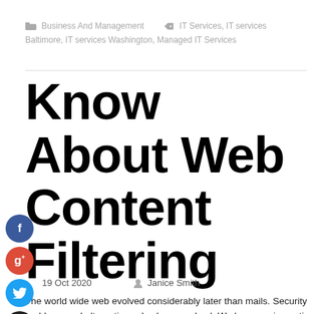Business And Management | IT Services, IT services Baltimore, IT services Washington, Managed IT Services
Know About Web Content Filtering
19 Oct 2020   Janice Smith
The world wide web evolved considerably later than mails. Security problems and alternatives also have evolved. We began using anti-virus to inspect the content of emails, and SPAM filters to handle the annoyance created by unwanted emails, cumulatively we link to both as content filtering for mails. A virtually similar scenario presents itself now, as we